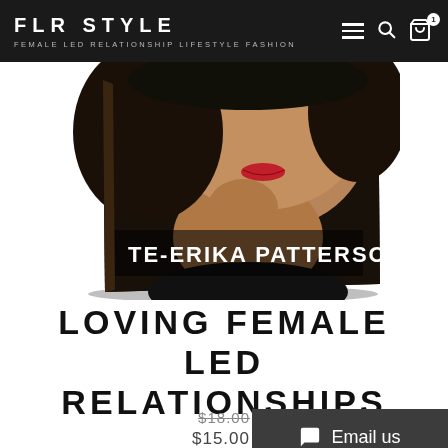FLR STYLE
FEMALE LED RELATIONSHIP LIFESTYLE FASHION
[Figure (photo): Book cover showing a woman's face and neck with dark hair and red lips. Author name 'TE-ERIKA PATTERSON' printed at bottom in white bold text.]
LOVING FEMALE LED RELATIONSHIPS
$18.00
$15.00
Email us